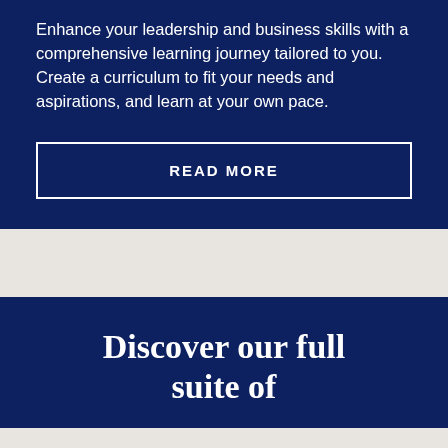Enhance your leadership and business skills with a comprehensive learning journey tailored to you. Create a curriculum to fit your needs and aspirations, and learn at your own pace.
READ MORE
Discover our full suite of